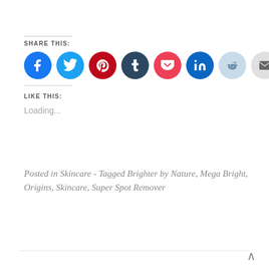Share this:
[Figure (infographic): Row of social media share icons: Facebook (blue), Twitter (light blue), Pinterest (red), Tumblr (dark navy), Pocket (red), LinkedIn (dark blue), Reddit (light blue), Email (light gray)]
Like this:
Loading...
Posted in Skincare - Tagged Brighter by Nature, Mega Bright, Origins, Skincare, Super Spot Remover